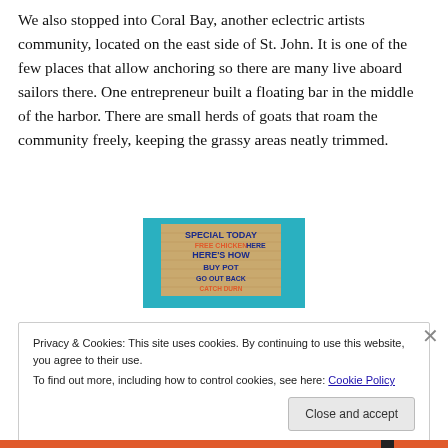We also stopped into Coral Bay, another eclectric artists community, located on the east side of St. John. It is one of the few places that allow anchoring so there are many live aboard sailors there. One entrepreneur built a floating bar in the middle of the harbor. There are small herds of goats that roam the community freely, keeping the grassy areas neatly trimmed.
[Figure (photo): A colorful handwritten sign reading 'SPECIAL TODAY FREE CHICKEN HERE'S HOW BUY POT GO OUT BACK CATCH DURN' on a turquoise background]
Privacy & Cookies: This site uses cookies. By continuing to use this website, you agree to their use.
To find out more, including how to control cookies, see here: Cookie Policy